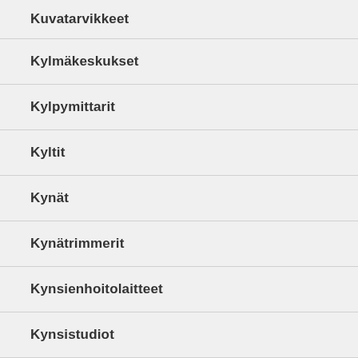Kuvatarvikkeet
Kylmäkeskukset
Kylpymittarit
Kyltit
Kynät
Kynätrimmerit
Kynsienhoitolaitteet
Kynsistudiot
Kytkimet & Jakajat
Kytkinpistorasia...